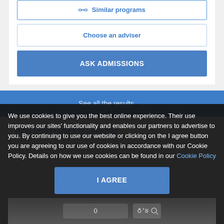🔗 Similar programs
Choose an adviser
ASK ADMISSIONS
See all the results
Best Universities in Lebanon
We use cookies to give you the best online experience. Their use improves our sites' functionality and enables our partners to advertise to you. By continuing to use our website or clicking on the I agree button you are agreeing to our use of cookies in accordance with our Cookie Policy. Details on how we use cookies can be found in our Cookie Policy
I AGREE